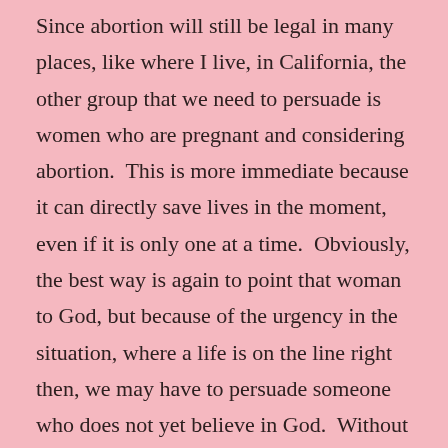Since abortion will still be legal in many places, like where I live, in California, the other group that we need to persuade is women who are pregnant and considering abortion.  This is more immediate because it can directly save lives in the moment, even if it is only one at a time.  Obviously, the best way is again to point that woman to God, but because of the urgency in the situation, where a life is on the line right then, we may have to persuade someone who does not yet believe in God.  Without that belief in God, there is only one other possible way to convince people of something.  You have to appeal to their own self-interest.  I truly believe that God tells us right from wrong not to control us, but because He loves us and doing what He says is ultimately in our own self-interest.  It will make our lives better whether we can see how or not.  Therefore,